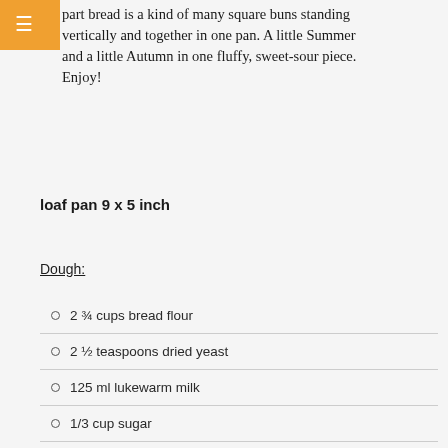part bread is a kind of many square buns standing vertically and together in one pan. A little Summer and a little Autumn in one fluffy, sweet-sour piece. Enjoy!
loaf pan 9 x 5 inch
Dough:
2 ¾ cups bread flour
2 ½ teaspoons dried yeast
125 ml lukewarm milk
1/3 cup sugar
pinch of salt
½ cup minus 1 tablespoon butter, melted